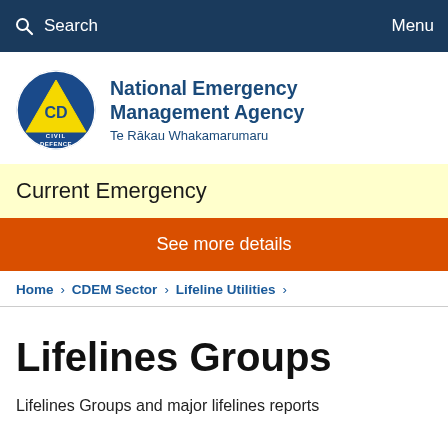Search   Menu
[Figure (logo): National Emergency Management Agency logo — blue circle with yellow triangle, CD Civil Defence text, alongside agency name in blue bold text and Maori subtitle Te Rakau Whakamarumaru]
Current Emergency
See more details
Home > CDEM Sector > Lifeline Utilities >
Lifelines Groups
Lifelines Groups and major lifelines reports